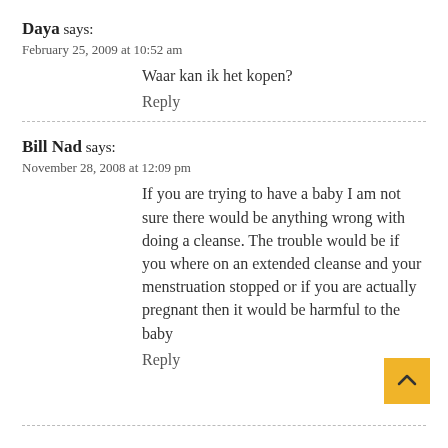Daya says:
February 25, 2009 at 10:52 am
Waar kan ik het kopen?
Reply
Bill Nad says:
November 28, 2008 at 12:09 pm
If you are trying to have a baby I am not sure there would be anything wrong with doing a cleanse. The trouble would be if you where on an extended cleanse and your menstruation stopped or if you are actually pregnant then it would be harmful to the baby
Reply